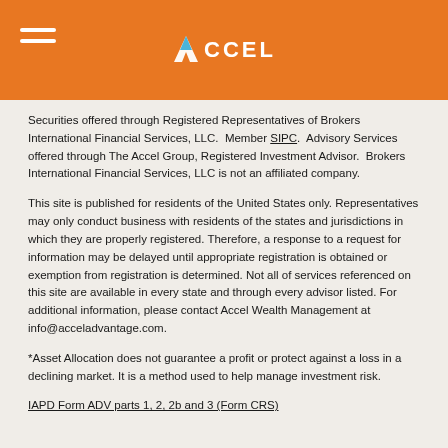[Figure (logo): Accel logo with stylized 'A' icon and 'ACCEL' text on orange header bar with hamburger menu icon on left]
Securities offered through Registered Representatives of Brokers International Financial Services, LLC.  Member SIPC.  Advisory Services offered through The Accel Group, Registered Investment Advisor.  Brokers International Financial Services, LLC is not an affiliated company.
This site is published for residents of the United States only. Representatives may only conduct business with residents of the states and jurisdictions in which they are properly registered. Therefore, a response to a request for information may be delayed until appropriate registration is obtained or exemption from registration is determined. Not all of services referenced on this site are available in every state and through every advisor listed. For additional information, please contact Accel Wealth Management at info@acceladvantage.com.
*Asset Allocation does not guarantee a profit or protect against a loss in a declining market. It is a method used to help manage investment risk.
IAPD Form ADV parts 1, 2, 2b and 3 (Form CRS)